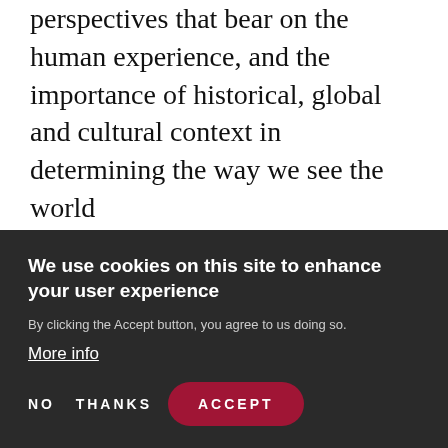perspectives that bear on the human experience, and the importance of historical, global and cultural context in determining the way we see the world
Written assignments include two 7 page papers and a final exam. Paper assignments and exam questions will be handed out in class. For additional information on this
We use cookies on this site to enhance your user experience
By clicking the Accept button, you agree to us doing so.
More info
NO THANKS
ACCEPT